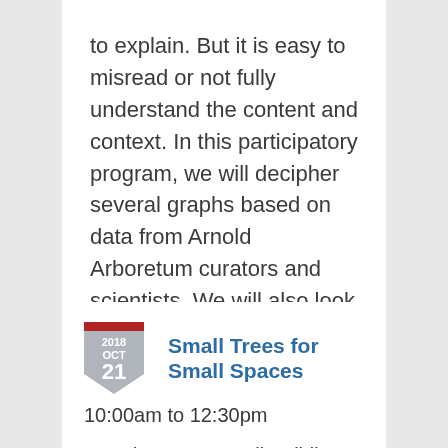to explain. But it is easy to misread or not fully understand the content and context. In this participatory program, we will decipher several graphs based on data from Arnold Arboretum curators and scientists. We will also look at the data…
[Figure (other): Calendar badge showing 2018 OCT 21 with a shield/pennant shape, dark red top bar and gray body]
Small Trees for Small Spaces
10:00am to 12:30pm
Location: Hunnewell Building and Landscape, Arnold Arboretum, 125 Arborway, Jamaica Plain, MA 02130